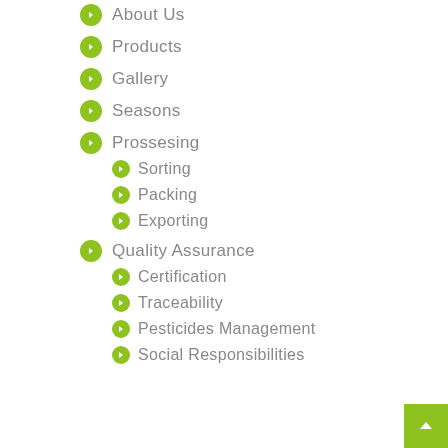About Us
Products
Gallery
Seasons
Prossesing
Sorting
Packing
Exporting
Quality Assurance
Certification
Traceability
Pesticides Management
Social Responsibilities